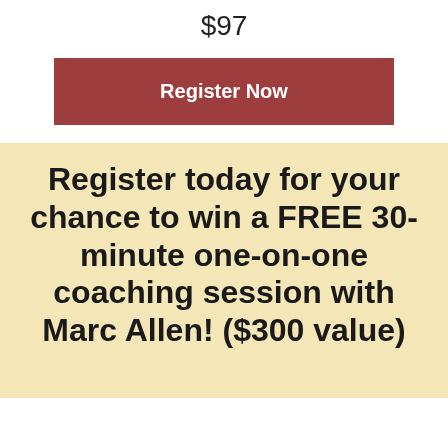$97
[Figure (other): Red/dark-rose colored 'Register Now' button]
Register today for your chance to win a FREE 30-minute one-on-one coaching session with Marc Allen! ($300 value)